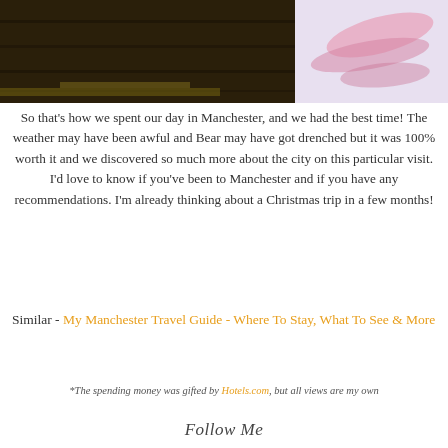[Figure (photo): Top portion showing a dark photo on the left half and a lavender/pink background with pink brush stroke design on the right half]
So that's how we spent our day in Manchester, and we had the best time! The weather may have been awful and Bear may have got drenched but it was 100% worth it and we discovered so much more about the city on this particular visit. I'd love to know if you've been to Manchester and if you have any recommendations. I'm already thinking about a Christmas trip in a few months!
Similar - My Manchester Travel Guide - Where To Stay, What To See & More
*The spending money was gifted by Hotels.com, but all views are my own
Follow Me